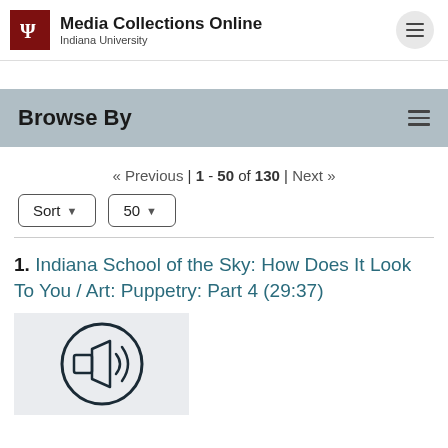Media Collections Online — Indiana University
Browse By
« Previous | 1 - 50 of 130 | Next »
Sort ▾  50 ▾
1. Indiana School of the Sky: How Does It Look To You / Art: Puppetry: Part 4 (29:37)
[Figure (illustration): Audio speaker icon inside a circle on a light gray background]